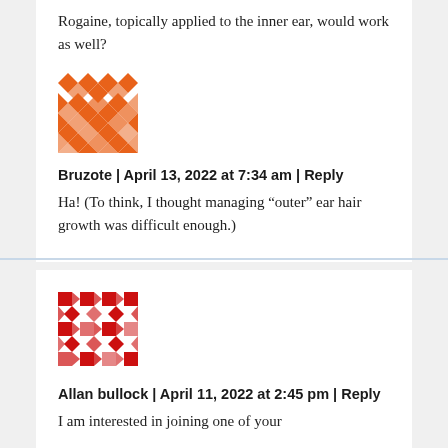Rogaine, topically applied to the inner ear, would work as well?
[Figure (illustration): Orange geometric quilt-pattern avatar for user Bruzote]
Bruzote | April 13, 2022 at 7:34 am | Reply
Ha! (To think, I thought managing “outer” ear hair growth was difficult enough.)
[Figure (illustration): Red geometric quilt-pattern avatar for user Allan bullock]
Allan bullock | April 11, 2022 at 2:45 pm | Reply
I am interested in joining one of your